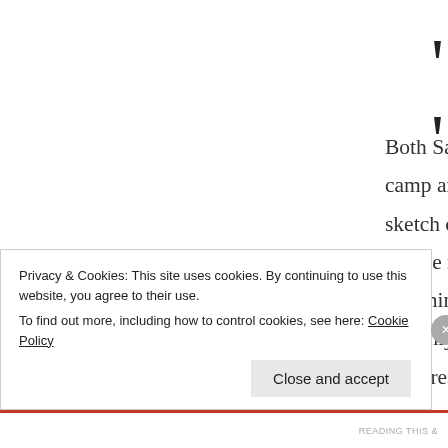Both Sam Barnett and Declan Bennett are fine actors but their camp and macho double act here felt more at home in unfunny sketch comedy. Some cheap gags landed with those around me but for the most part it just felt like they were both just furiously punching flat lines hoping for a bit of life. The only reprieve and the only place these broad voices, dancing expressions and loud gestures made sense, were Sam Barnett's character's monologue
Privacy & Cookies: This site uses cookies. By continuing to use this website, you agree to their use.
To find out more, including how to control cookies, see here: Cookie Policy